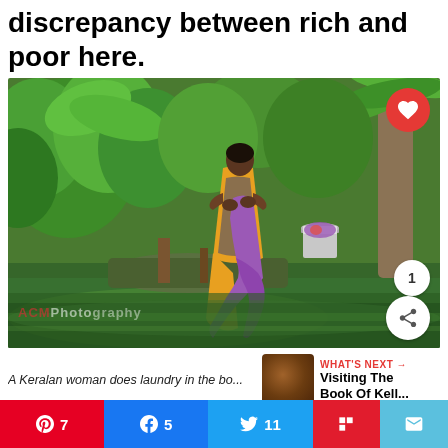discrepancy between rich and poor here.
[Figure (photo): A Keralan woman in an orange and blue sari doing laundry in a backwater river, holding purple fabric. Lush green tropical vegetation and palm trees in the background. A white bucket sits on rocks nearby. ACMPhotography watermark in bottom left.]
A Keralan woman does laundry in the bo...
[Figure (photo): Thumbnail of next article - appears to be the Book of Kells]
WHAT'S NEXT → Visiting The Book Of Kell...
7
5
11